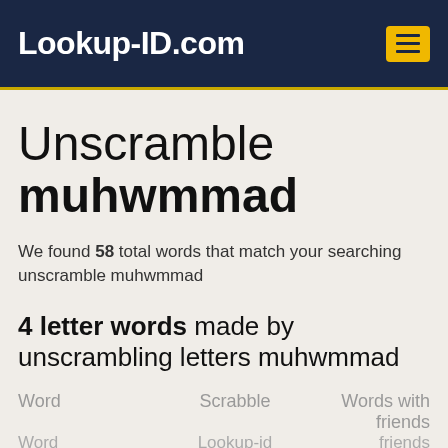Lookup-ID.com
Unscramble muhwmmad
We found 58 total words that match your searching unscramble muhwmmad
4 letter words made by unscrambling letters muhwmmad
| Word | Scrabble Lookup-id | Words with friends |
| --- | --- | --- |